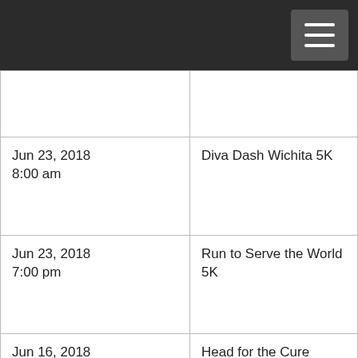| Date/Time | Event |
| --- | --- |
|  |  |
| Jun 23, 2018
8:00 am | Diva Dash Wichita 5K |
| Jun 23, 2018
7:00 pm | Run to Serve the World 5K |
| Jun 16, 2018
8:00 am | Head for the Cure |
| Jun 16, 2018
8:00 am | Father's Day Four Mile and Kids Run |